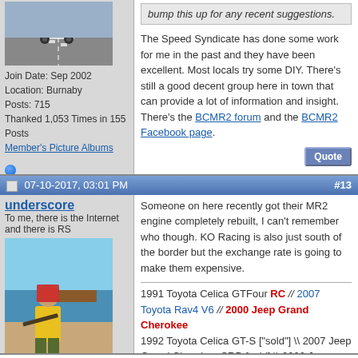[Figure (photo): Car driving away on highway, viewed from behind]
Join Date: Sep 2002
Location: Burnaby
Posts: 715
Thanked 1,053 Times in 155 Posts
Member's Picture Albums
bump this up for any recent suggestions.
The Speed Syndicate has done some work for me in the past and they have been excellent. Most locals try some DIY. There's still a good decent group here in town that can provide a lot of information and insight. There's the BCMR2 forum and the BCMR2 Facebook page.
07-10-2017, 03:01 PM  #13
underscore
To me, there is the Internet and there is RS
[Figure (photo): Person in yellow shirt and red headscarf holding a weapon on a beach with a rusted ship in background]
Join Date: Apr 2007
Location: Okanagan
Posts: 15,282
Someone on here recently got their MR2 engine completely rebuilt, I can't remember who though. KO Racing is also just south of the border but the exchange rate is going to make them expensive.
1991 Toyota Celica GTFour RC // 2007 Toyota Rav4 V6 // 2000 Jeep Grand Cherokee
1992 Toyota Celica GT-S ["sold"] \ 2007 Jeep Grand Cherokee CRD [sold] \ 2000 Jeep Cherokee [sold] \ 1997 Honda Prelude [sold] \ 1992 Jeep YJ [sold/crashed] \ 1987 Mazda RX-7 [sold] \ 1987 Toyota Celica GT-S [crushed]